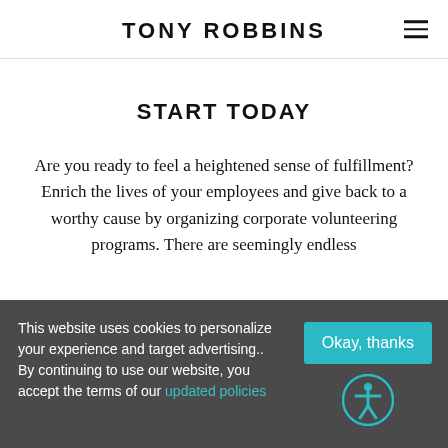TONY ROBBINS
START TODAY
Are you ready to feel a heightened sense of fulfillment? Enrich the lives of your employees and give back to a worthy cause by organizing corporate volunteering programs. There are seemingly endless
This website uses cookies to personalize your experience and target advertising.. By continuing to use our website, you accept the terms of our updated policies